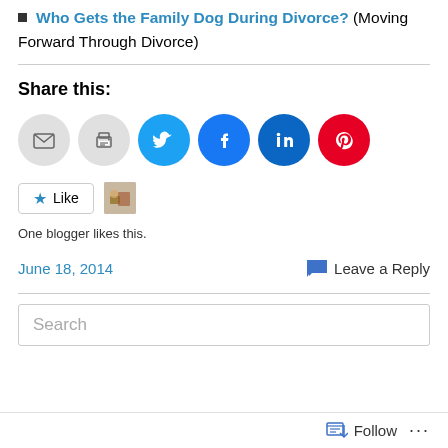Who Gets the Family Dog During Divorce? (Moving Forward Through Divorce)
Share this:
[Figure (infographic): Row of social sharing icon buttons: email (gray circle), print (gray circle), Twitter (light blue circle), Facebook (blue circle), LinkedIn (dark blue circle), Pinterest (red circle)]
One blogger likes this.
June 18, 2014    Leave a Reply
Search